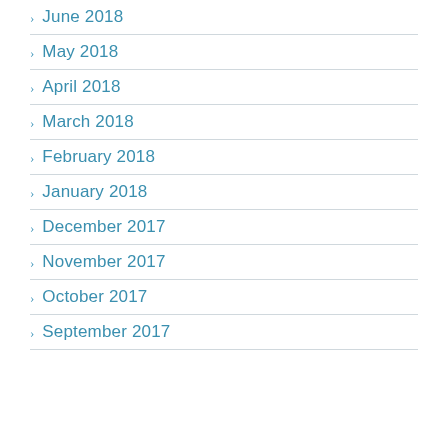June 2018
May 2018
April 2018
March 2018
February 2018
January 2018
December 2017
November 2017
October 2017
September 2017